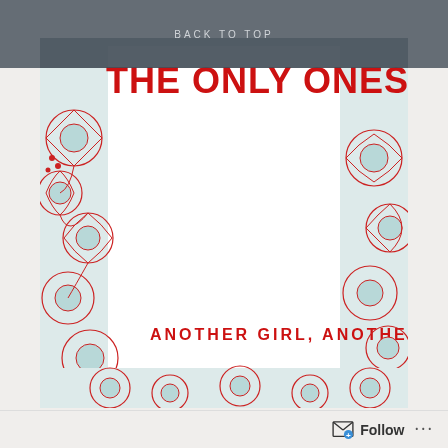BACK TO TOP
[Figure (illustration): Album cover for 'The Only Ones' — 'Another Girl, Another Planet'. Features a white center panel with red floral line-art border on a light blue-tinted background. The band name 'THE ONLY ONES' appears in bold red at the top, and 'ANOTHER GIRL, ANOTHER PLANET' in red spaced capitals near the bottom.]
21 September 2016.
The Only Ones, consisting of Peter Perrett (vocals, guitar), John Perry (lead